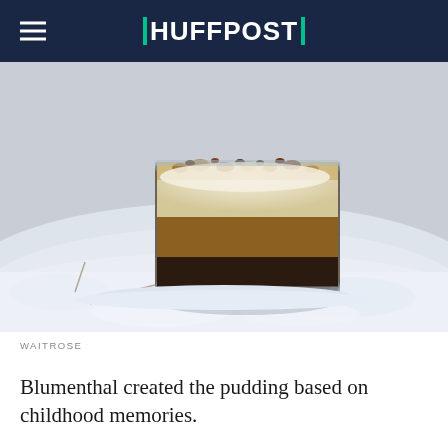HUFFPOST
[Figure (photo): A layered dessert pudding in a glass dish sitting in powdered sugar or snow, with a pocket watch and chain beside it. The dessert has visible layers of dark chocolate base, cream, and a crumbled topping.]
WAITROSE
Blumenthal created the pudding based on childhood memories.
“When I was a kid, I remember eating a bacon and